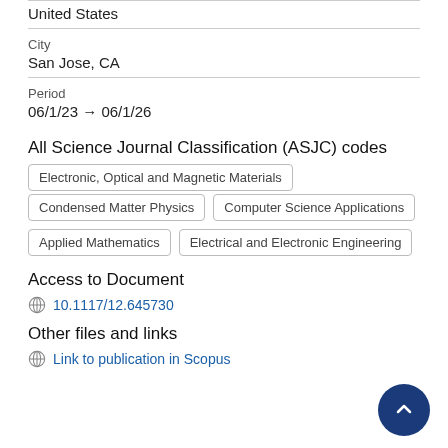United States
City
San Jose, CA
Period
06/1/23 → 06/1/26
All Science Journal Classification (ASJC) codes
Electronic, Optical and Magnetic Materials
Condensed Matter Physics
Computer Science Applications
Applied Mathematics
Electrical and Electronic Engineering
Access to Document
10.1117/12.645730
Other files and links
Link to publication in Scopus